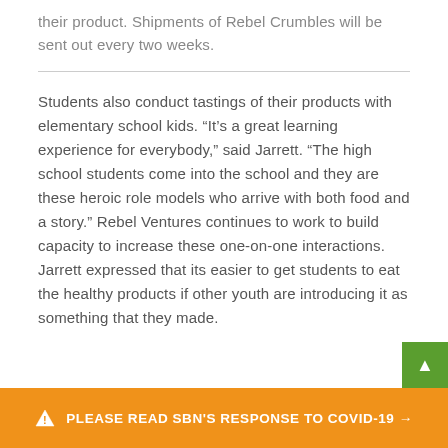their product. Shipments of Rebel Crumbles will be sent out every two weeks.
Students also conduct tastings of their products with elementary school kids. “It’s a great learning experience for everybody,” said Jarrett. “The high school students come into the school and they are these heroic role models who arrive with both food and a story.” Rebel Ventures continues to work to build capacity to increase these one-on-one interactions. Jarrett expressed that its easier to get students to eat the healthy products if other youth are introducing it as something that they made.
⚠ PLEASE READ SBN'S RESPONSE TO COVID-19 →